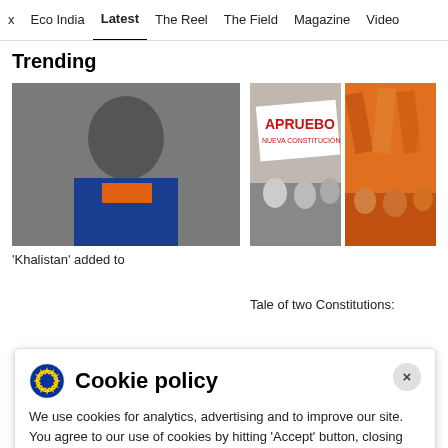x  Eco India  Latest  The Reel  The Field  Magazine  Video
Trending
[Figure (photo): Portrait of a young man wearing a blue and orange Indian cricket jersey and a dark turban, smiling]
[Figure (photo): Crowd holding a white banner reading 'APRUEBO NUEVA CONSTITUCION']
[Figure (photo): People with orange saffron flags]
'Khalistan' added to
Tale of two Constitutions:
Cookie policy
We use cookies for analytics, advertising and to improve our site. You agree to our use of cookies by hitting 'Accept' button, closing this message box or continuing to use our site. To find out more see our Privacy policy .
Accept